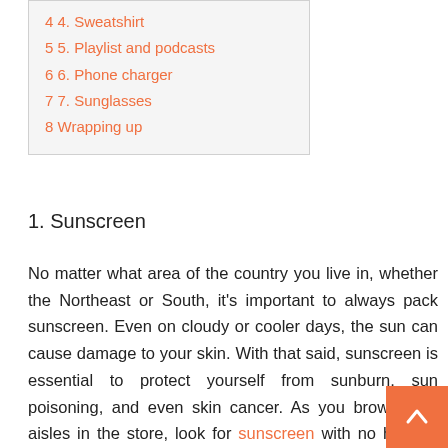4 4. Sweatshirt
5 5. Playlist and podcasts
6 6. Phone charger
7 7. Sunglasses
8 Wrapping up
1. Sunscreen
No matter what area of the country you live in, whether the Northeast or South, it's important to always pack sunscreen. Even on cloudy or cooler days, the sun can cause damage to your skin. With that said, sunscreen is essential to protect yourself from sunburn, sun poisoning, and even skin cancer. As you browse the aisles in the store, look for sunscreen with no harmful chemicals like